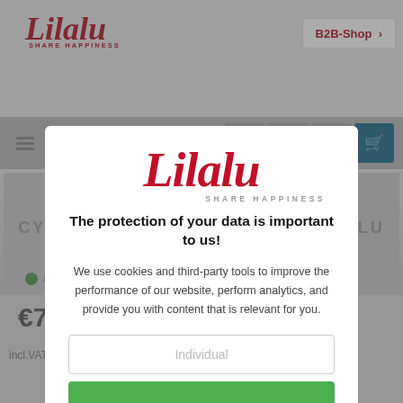[Figure (screenshot): Background website screenshot showing Lilalu webshop with top navigation, menu bar, product image area with CYBER DOOR text, price, stock status, and incl.VAT text]
[Figure (logo): Lilalu logo in red script with SHARE HAPPINESS tagline, displayed in modal dialog]
The protection of your data is important to us!
We use cookies and third-party tools to improve the performance of our website, perform analytics, and provide you with content that is relevant for you.
Individual
incl.VAT zzgl. shipping costs and without decoration